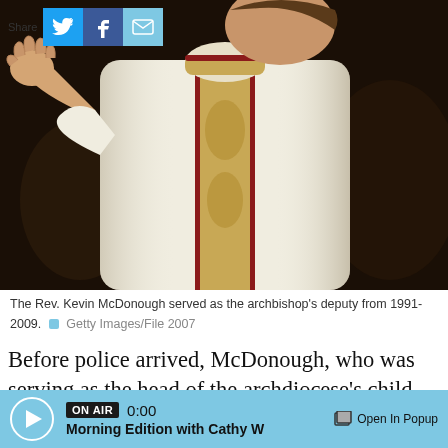[Figure (photo): A priest in white vestments raising his right hand with palm open, wearing an ornate stole with gold embroidery. The background is dark with other figures visible.]
The Rev. Kevin McDonough served as the archbishop's deputy from 1991-2009. Getty Images/File 2007
Before police arrived, McDonough, who was serving as the head of the archdiocese's child safety programs, and Vomastek confronted Wehmeyer at the Blessed Sacrament rectory, according to police. McDonough took the priest's handgun and one of his computers and told
ON AIR 0:00 Morning Edition with Cathy W Open In Popup